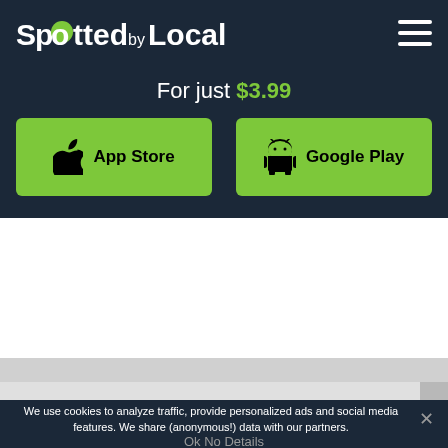Spotted by Locals
For just $3.99
[Figure (other): App Store button with Apple logo]
[Figure (other): Google Play button with Android logo]
We use cookies to analyze traffic, provide personalized ads and social media features. We share (anonymous!) data with our partners.
Ok  No  Details